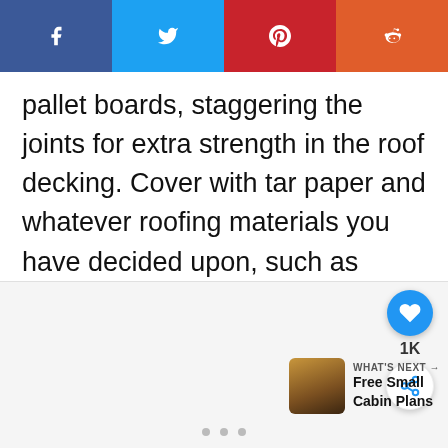[Figure (other): Social sharing bar with four buttons: Facebook (blue), Twitter (light blue), Pinterest (red), Reddit (orange-red), each showing its icon in white]
pallet boards, staggering the joints for extra strength in the roof decking. Cover with tar paper and whatever roofing materials you have decided upon, such as sheets of metal roofing.
[Figure (infographic): Bottom UI area with a heart/like FAB button showing 1K count, a share FAB button, a 'What's Next' widget showing a thumbnail and text 'Free Small Cabin Plans', and three pagination dots at the bottom]